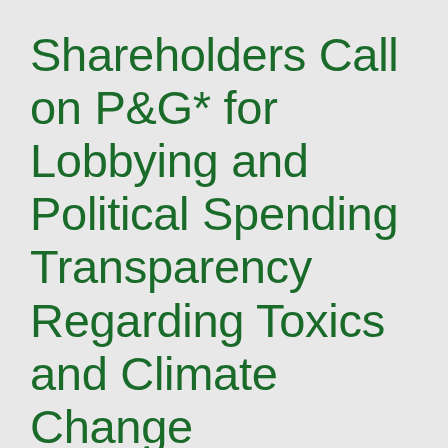Shareholders Call on P&G* for Lobbying and Political Spending Transparency Regarding Toxics and Climate Change Preparedness
October 11, 2016